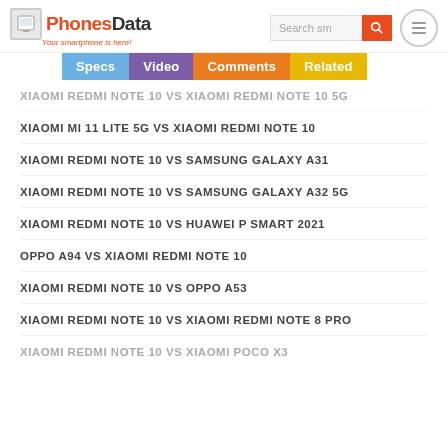PhonesData - Your smartphone is here!
XIAOMI REDMI NOTE 10 VS XIAOMI REDMI NOTE 10 5G
XIAOMI MI 11 LITE 5G VS XIAOMI REDMI NOTE 10
XIAOMI REDMI NOTE 10 VS SAMSUNG GALAXY A31
XIAOMI REDMI NOTE 10 VS SAMSUNG GALAXY A32 5G
XIAOMI REDMI NOTE 10 VS HUAWEI P SMART 2021
OPPO A94 VS XIAOMI REDMI NOTE 10
XIAOMI REDMI NOTE 10 VS OPPO A53
XIAOMI REDMI NOTE 10 VS XIAOMI REDMI NOTE 8 PRO
XIAOMI REDMI NOTE 10 VS XIAOMI POCO X3